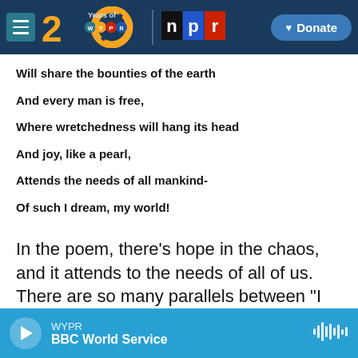WYPR — 20 Years of WYPR | NPR | ♥ Donate
Will share the bounties of the earth
And every man is free,
Where wretchedness will hang its head
And joy, like a pearl,
Attends the needs of all mankind-
Of such I dream, my world!
In the poem, there's hope in the chaos, and it attends to the needs of all of us. There are so many parallels between "I Dream A World" and King's speech: talk of dreams, freedom, equality
WYPR — BBC World Service